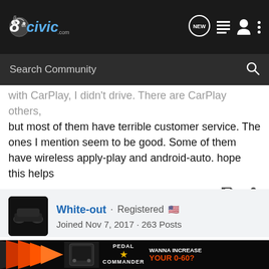8thCivic.com navigation header with search bar
...but most of them have terrible customer service. The ones I mention seem to be good. Some of them have wireless apply-play and android-auto. hope this helps
White-out · Registered · Joined Nov 7, 2017 · 263 Posts
#3 · Aug 21, 2020
Whatever you do.. be careful not to downgrade.
I also w...from
Walmar...eplace
the qu...ut it